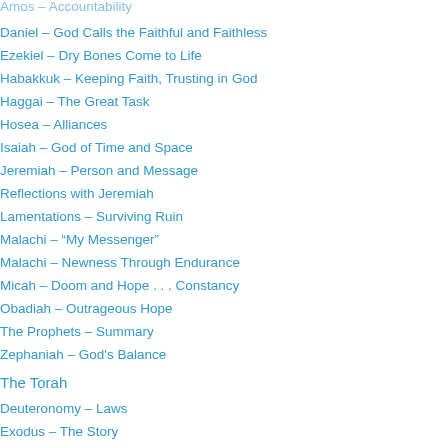Amos – Accountability
Daniel – God Calls the Faithful and Faithless
Ezekiel – Dry Bones Come to Life
Habakkuk – Keeping Faith, Trusting in God
Haggai – The Great Task
Hosea – Alliances
Isaiah – God of Time and Space
Jeremiah – Person and Message
Reflections with Jeremiah
Lamentations – Surviving Ruin
Malachi – “My Messenger”
Malachi – Newness Through Endurance
Micah – Doom and Hope . . . Constancy
Obadiah – Outrageous Hope
The Prophets – Summary
Zephaniah – God's Balance
The Torah
Deuteronomy – Laws
Exodus – The Story
Numbers – Arrangement of the Tribes